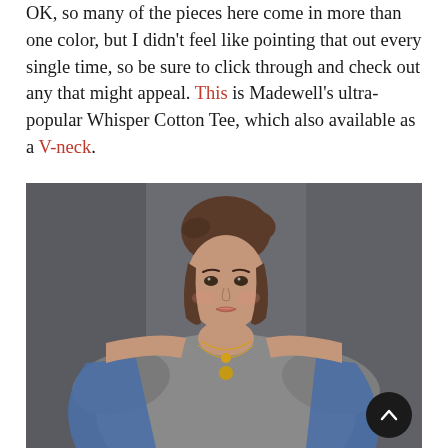OK, so many of the pieces here come in more than one color, but I didn't feel like pointing that out every single time, so be sure to click through and check out any that might appeal. This is Madewell's ultra-popular Whisper Cotton Tee, which also available as a V-neck.
[Figure (photo): A young woman wearing a gray Madewell Whisper Cotton Tee with gold necklaces, partly draped in a denim jacket, posed against a dark gray background.]